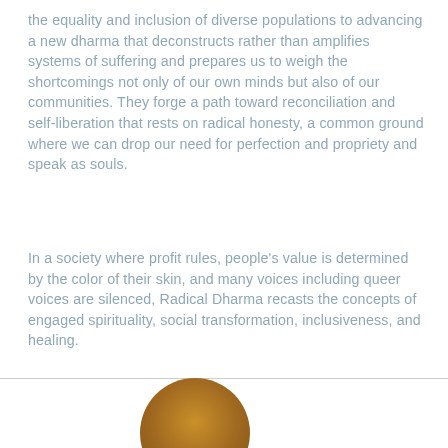the equality and inclusion of diverse populations to advancing a new dharma that deconstructs rather than amplifies systems of suffering and prepares us to weigh the shortcomings not only of our own minds but also of our communities. They forge a path toward reconciliation and self-liberation that rests on radical honesty, a common ground where we can drop our need for perfection and propriety and speak as souls.
In a society where profit rules, people's value is determined by the color of their skin, and many voices including queer voices are silenced, Radical Dharma recasts the concepts of engaged spirituality, social transformation, inclusiveness, and healing.
[Figure (illustration): Partial view of a circular brown/golden shape at the bottom center of the page, appearing to be the top portion of a circular illustration or book cover element.]